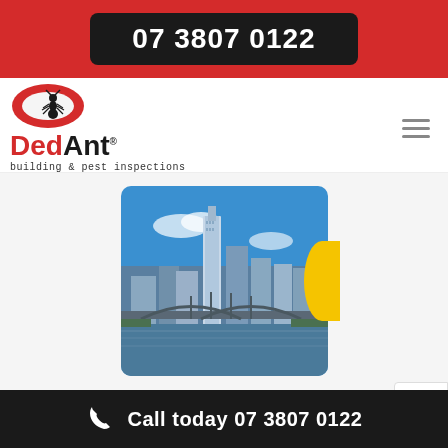07 3807 0122
[Figure (logo): DedAnt building & pest inspections logo with ant icon and red oval]
[Figure (photo): Brisbane city skyline with river and bridge in foreground, blue sky]
BUILDING AND PEST INSPECTIONS
Call today 07 3807 0122